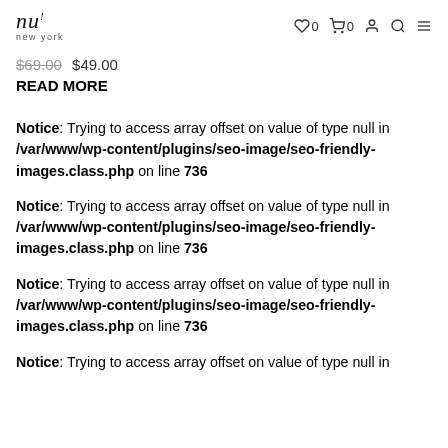nu new york — nav icons: heart 0, cart 0, user, search, menu
$69.00 $49.00
READ MORE
Notice: Trying to access array offset on value of type null in /var/www/wp-content/plugins/seo-image/seo-friendly-images.class.php on line 736
Notice: Trying to access array offset on value of type null in /var/www/wp-content/plugins/seo-image/seo-friendly-images.class.php on line 736
Notice: Trying to access array offset on value of type null in /var/www/wp-content/plugins/seo-image/seo-friendly-images.class.php on line 736
Notice: Trying to access array offset on value of type null in